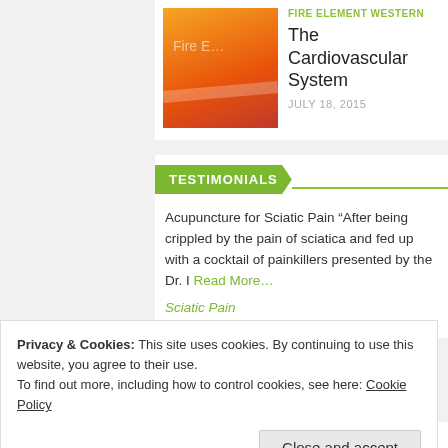[Figure (photo): Orange and red gradient image representing Fire Element Western, with text 'Fire E…' overlaid]
FIRE ELEMENT WESTERN
The Cardiovascular System
JULY 18, 2015
TESTIMONIALS
Acupuncture for Sciatic Pain “After being crippled by the pain of sciatica and fed up with a cocktail of painkillers presented by the Dr. I Read More…
Sciatic Pain
See All Testimonials
Privacy & Cookies: This site uses cookies. By continuing to use this website, you agree to their use.
To find out more, including how to control cookies, see here: Cookie Policy
Close and accept
ACID REFLUX